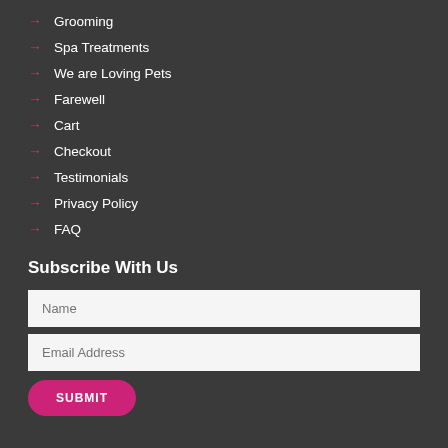Grooming
Spa Treatments
We are Loving Pets
Farewell
Cart
Checkout
Testimonials
Privacy Policy
FAQ
Subscribe With Us
Name (input field)
Email Address (input field)
SUBMIT (button)